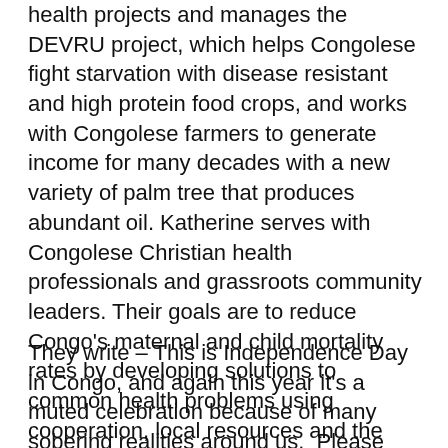health projects and manages the DEVRU project, which helps Congolese fight starvation with disease resistant and high protein food crops, and works with Congolese farmers to generate income for many decades with a new variety of palm tree that produces abundant oil. Katherine serves with Congolese Christian health professionals and grassroots community leaders. Their goals are to reduce Congo's maternal and child mortality rates by developing solutions to common health problems using cooperation, local resources and the Word of God. Katherine also coordinates White Cross efforts and support for the network of Baptist hospitals and health centers in the Congo.
They write – This is Independence Day in Congo, and again this year it's a muted celebration because of many sobering realities around us.  Please pray with us for this country: for peace, an end to Ebola, for so many who continue to suffer so much at the hands of